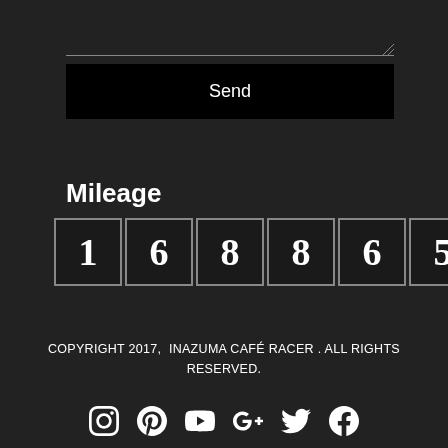[Figure (screenshot): Text input field with resize handle and Send button below it, on dark background]
Mileage
[Figure (other): Odometer display showing digits 1 6 8 8 6 5 3 6 in individual flip-clock style boxes]
COPYRIGHT 2017,  INAZUMA CAFÉ RACER . ALL RIGHTS RESERVED.
[Figure (other): Social media icons: Instagram, Pinterest, YouTube, Google+, Twitter, Facebook]